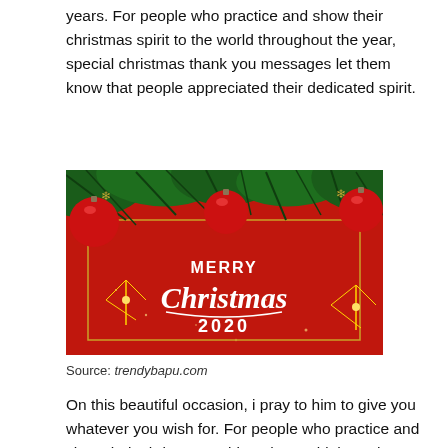years. For people who practice and show their christmas spirit to the world throughout the year, special christmas thank you messages let them know that people appreciated their dedicated spirit.
[Figure (illustration): A Merry Christmas 2020 greeting card with red background, gold border, decorative pine branches with red ornament balls along the top, and the text 'MERRY Christmas 2020' in white and script lettering, with star/sparkle decorations.]
Source: trendybapu.com
On this beautiful occasion, i pray to him to give you whatever you wish for. For people who practice and show their christmas spirit to the world throughout the year,